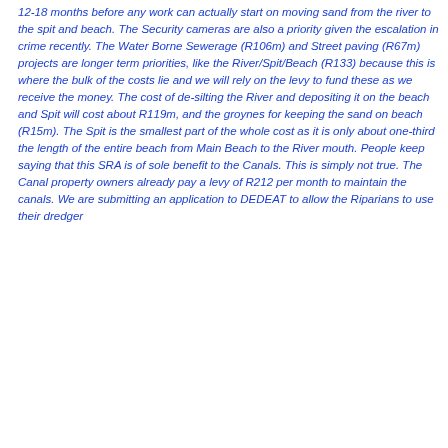12-18 months before any work can actually start on moving sand from the river to the spit and beach. The Security cameras are also a priority given the escalation in crime recently. The Water Borne Sewerage (R106m) and Street paving (R67m) projects are longer term priorities, like the River/Spit/Beach (R133) because this is where the bulk of the costs lie and we will rely on the levy to fund these as we receive the money. The cost of de-silting the River and depositing it on the beach and Spit will cost about R119m, and the groynes for keeping the sand on beach (R15m). The Spit is the smallest part of the whole cost as it is only about one-third the length of the entire beach from Main Beach to the River mouth. People keep saying that this SRA is of sole benefit to the Canals. This is simply not true. The Canal property owners already pay a levy of R212 per month to maintain the canals. We are submitting an application to DEDEAT to allow the Riparians to use their dredger